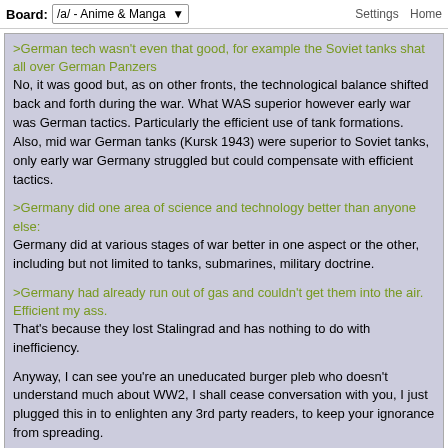Board: /a/ - Anime & Manga   Settings  Home
>German tech wasn't even that good, for example the Soviet tanks shat all over German Panzers
No, it was good but, as on other fronts, the technological balance shifted back and forth during the war. What WAS superior however early war was German tactics. Particularly the efficient use of tank formations. Also, mid war German tanks (Kursk 1943) were superior to Soviet tanks, only early war Germany struggled but could compensate with efficient tactics.
>Germany did one area of science and technology better than anyone else:
Germany did at various stages of war better in one aspect or the other, including but not limited to tanks, submarines, military doctrine.
>Germany had already run out of gas and couldn't get them into the air. Efficient my ass.
That's because they lost Stalingrad and has nothing to do with inefficiency.
Anyway, I can see you're an uneducated burger pleb who doesn't understand much about WW2, I shall cease conversation with you, I just plugged this in to enlighten any 3rd party readers, to keep your ignorance from spreading.
Anonymous   12/17/17(Sun)20:10:44 No.56984633
File: mfw wearing pantsu.jpg (114 KB, 900x663)